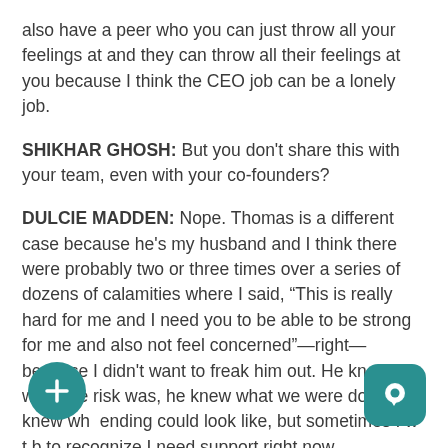also have a peer who you can just throw all your feelings at and they can throw all their feelings at you because I think the CEO job can be a lonely job.
SHIKHAR GHOSH: But you don't share this with your team, even with your co-founders?
DULCIE MADDEN: Nope. Thomas is a different case because he's my husband and I think there were probably two or three times over a series of dozens of calamities where I said, “This is really hard for me and I need you to be able to be strong for me and also not feel concerned”—right—because I didn't want to freak him out. He knew what the risk was, he knew what we were doing. He knew wh[at a] ending could look like, but sometimes I w[an]t b[eing] to recognize I need support right now.